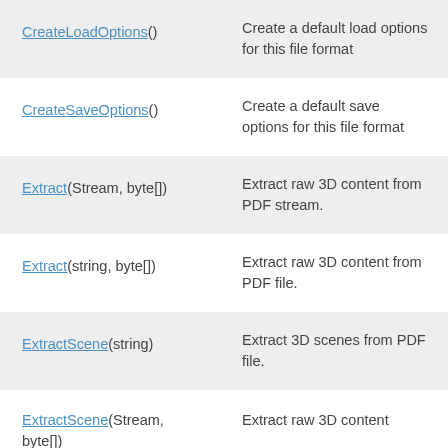| Method | Description |
| --- | --- |
| CreateLoadOptions() | Create a default load options for this file format |
| CreateSaveOptions() | Create a default save options for this file format |
| Extract(Stream, byte[]) | Extract raw 3D content from PDF stream. |
| Extract(string, byte[]) | Extract raw 3D content from PDF file. |
| ExtractScene(string) | Extract 3D scenes from PDF file. |
| ExtractScene(Stream, byte[]) | Extract raw 3D content |